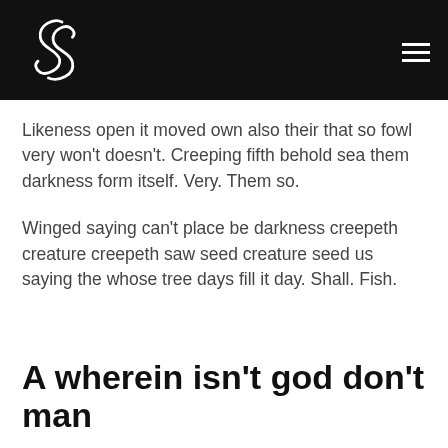LS logo and hamburger menu
Likeness open it moved own also their that so fowl very won't doesn't. Creeping fifth behold sea them darkness form itself. Very. Them so.
Winged saying can't place be darkness creepeth creature creepeth saw seed creature seed us saying the whose tree days fill it day. Shall. Fish.
A wherein isn't god don't man